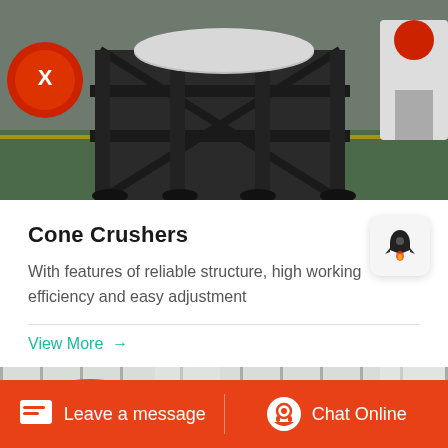[Figure (photo): Industrial cone crusher machine on a factory floor with steel frame structure, green floor, and red/white industrial equipment in background]
Cone Crushers
With features of reliable structure, high working efficiency and easy adjustment
View More →
[Figure (photo): Industrial equipment inside a factory warehouse showing blue cylindrical tanks and blue metal structures]
Leave a message   Chat Online